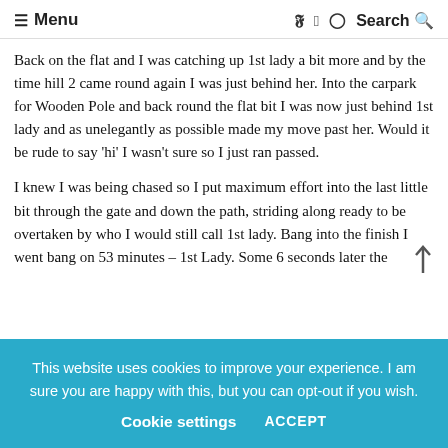≡ Menu  [twitter] [facebook] [instagram]  Search 🔍
Back on the flat and I was catching up 1st lady a bit more and by the time hill 2 came round again I was just behind her. Into the carpark for Wooden Pole and back round the flat bit I was now just behind 1st lady and as unelegantly as possible made my move past her. Would it be rude to say 'hi' I wasn't sure so I just ran passed.
I knew I was being chased so I put maximum effort into the last little bit through the gate and down the path, striding along ready to be overtaken by who I would still call 1st lady. Bang into the finish I went bang on 53 minutes – 1st Lady. Some 6 seconds later the
This website uses cookies to improve your experience. I am sure you are happy with this, but you can opt-out if you wish.  Cookie settings  ACCEPT